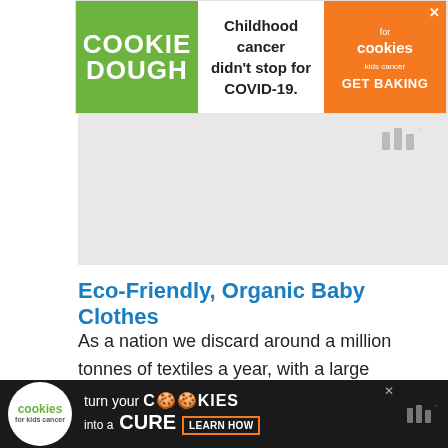[Figure (other): Top advertisement banner for Cookies for Kids Cancer: COOKIE DOUGH text on green background, 'Childhood cancer didn't stop for COVID-19.' text in middle, orange section with 'cookies for kids cancer GET BAKING' and X close button]
[Figure (logo): Millward Brown logo (three vertical bars with degree symbol) in gray, positioned in upper right area]
Eco-Friendly, Organic Baby Clothes
As a nation we discard around a million tonnes of textiles a year, with a large amount ending up in landfill or being incinerated. There is so much waste in baby wear, as the lifespan of the clothing is very short with children growing so quickly.
[Figure (other): Bottom advertisement banner on dark background: Cookies for Kids Cancer logo circle, 'turn your COOKIES into a CURE LEARN HOW' text, Millward Brown logo and X close button on right]